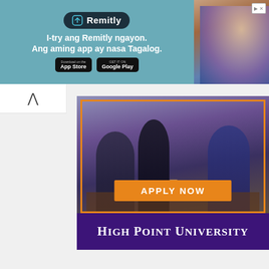[Figure (screenshot): Remitly advertisement banner with teal background, Remitly logo, tagline 'I-try ang Remitly ngayon. Ang aming app ay nasa Tagalog.' with App Store and Google Play buttons, and photo of two women on right side]
[Figure (screenshot): High Point University advertisement with photo of people in meeting room, orange 'APPLY NOW' button with orange border frame, and purple banner with white text 'HIGH POINT UNIVERSITY']
[Figure (logo): Pink/coral circular icon with white receptionist figure behind a desk — Yarra International Recruitment Co Inc company logo]
YARRA INTERNATIONAL RECRUITMENT CO INC
Overseas Employment Agency
2204 TAFT AVE MALATE, MANILA